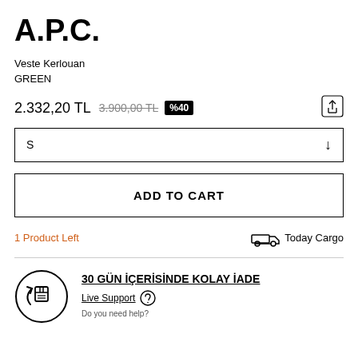A.P.C.
Veste Kerlouan
GREEN
2.332,20 TL  3.900,00 TL  %40
S
ADD TO CART
1 Product Left
Today Cargo
30 GÜN İÇERİSİNDE KOLAY İADE
Live Support
Do you need help?